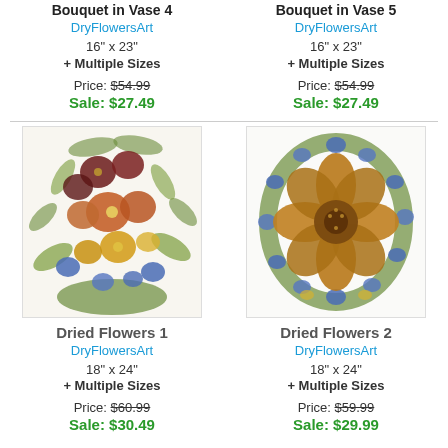Bouquet in Vase 4
DryFlowersArt
16" x 23"
+ Multiple Sizes
Price: $54.99
Sale: $27.49
Bouquet in Vase 5
DryFlowersArt
16" x 23"
+ Multiple Sizes
Price: $54.99
Sale: $27.49
[Figure (photo): Pressed dried flowers arrangement 1 - colorful bouquet with blue, red, yellow flowers and green ferns on white background]
[Figure (photo): Pressed dried flowers arrangement 2 - oval wreath with blue flowers and large golden/brown center flower on white background]
Dried Flowers 1
DryFlowersArt
18" x 24"
+ Multiple Sizes
Price: $60.99
Sale: $30.49
Dried Flowers 2
DryFlowersArt
18" x 24"
+ Multiple Sizes
Price: $59.99
Sale: $29.99